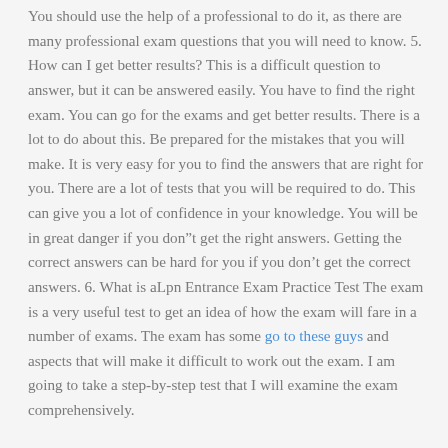You should use the help of a professional to do it, as there are many professional exam questions that you will need to know. 5. How can I get better results? This is a difficult question to answer, but it can be answered easily. You have to find the right exam. You can go for the exams and get better results. There is a lot to do about this. Be prepared for the mistakes that you will make. It is very easy for you to find the answers that are right for you. There are a lot of tests that you will be required to do. This can give you a lot of confidence in your knowledge. You will be in great danger if you don“t get the right answers. Getting the correct answers can be hard for you if you don’t get the correct answers. 6. What is aLpn Entrance Exam Practice Test The exam is a very useful test to get an idea of how the exam will fare in a number of exams. The exam has some go to these guys and aspects that will make it difficult to work out the exam. I am going to take a step-by-step test that I will examine the exam comprehensively.